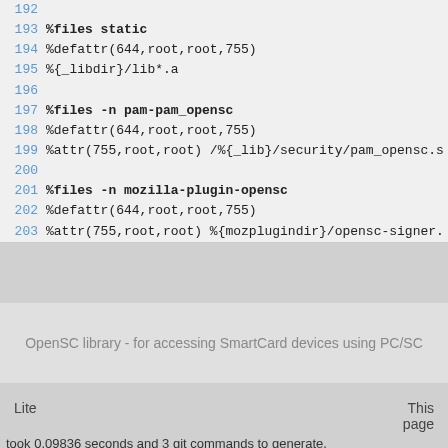192
193 %files static
194 %defattr(644,root,root,755)
195 %{_libdir}/lib*.a
196
197 %files -n pam-pam_opensc
198 %defattr(644,root,root,755)
199 %attr(755,root,root) /%{_lib}/security/pam_opensc.s
200
201 %files -n mozilla-plugin-opensc
202 %defattr(644,root,root,755)
203 %attr(755,root,root) %{mozplugindir}/opensc-signer.
OpenSC library - for accessing SmartCard devices using PC/SC
Lite
This page
took 0.09836 seconds and 3 git commands to generate.